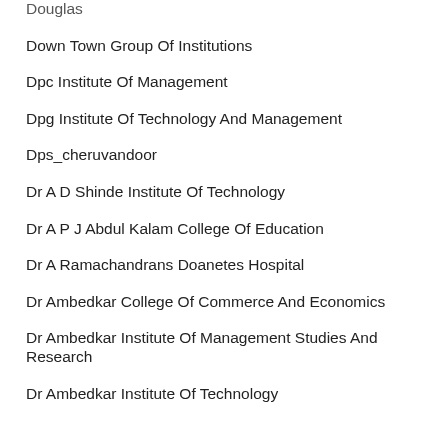Douglas
Down Town Group Of Institutions
Dpc Institute Of Management
Dpg Institute Of Technology And Management
Dps_cheruvandoor
Dr A D Shinde Institute Of Technology
Dr A P J Abdul Kalam College Of Education
Dr A Ramachandrans Doanetes Hospital
Dr Ambedkar College Of Commerce And Economics
Dr Ambedkar Institute Of Management Studies And Research
Dr Ambedkar Institute Of Technology